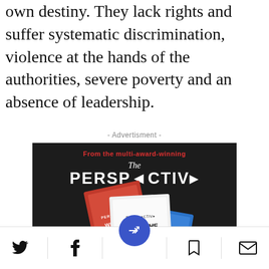own destiny. They lack rights and suffer systematic discrimination, violence at the hands of the authorities, severe poverty and an absence of leadership.
- Advertisment -
[Figure (illustration): Advertisement for 'The Perspective' book 'What the Hell...' - From the multi-award-winning publication. The 100 debates that govern your life. Available on Amazon. By Daniel Ravner.]
Twitter share icon | Facebook share icon | Share button | Bookmark icon | Email icon